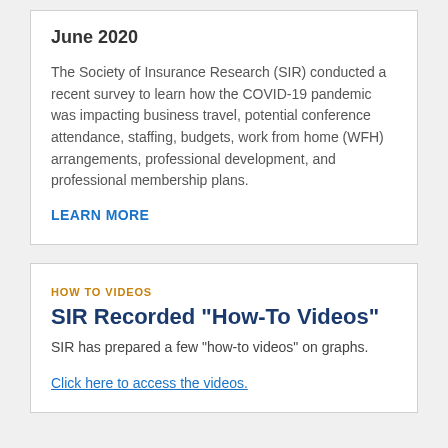June 2020
The Society of Insurance Research (SIR) conducted a recent survey to learn how the COVID-19 pandemic was impacting business travel, potential conference attendance, staffing, budgets, work from home (WFH) arrangements, professional development, and professional membership plans.
LEARN MORE
HOW TO VIDEOS
SIR Recorded "How-To Videos"
SIR has prepared a few "how-to videos" on graphs.
Click here to access the videos.